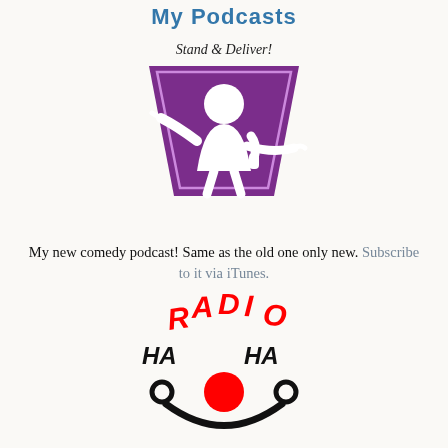My Podcasts
[Figure (logo): Stand & Deliver! podcast logo: purple trapezoid shape with white silhouette of a comedian holding a microphone with one arm outstretched, text 'Stand & Deliver!' above]
My new comedy podcast! Same as the old one only new. Subscribe to it via iTunes.
[Figure (logo): Radio Ha Ha logo: bold red 'RADIO' text arched above a smiley face made of black 'HA HA' text as eyes/brows, a red circle nose, and a black curved smile]
Dedicated comedy showcase featuring live stand-up, interviews, a weekly gig guide and classic comedy clips. Hosted by Dom Romeo and a different guest comedian each week. Some